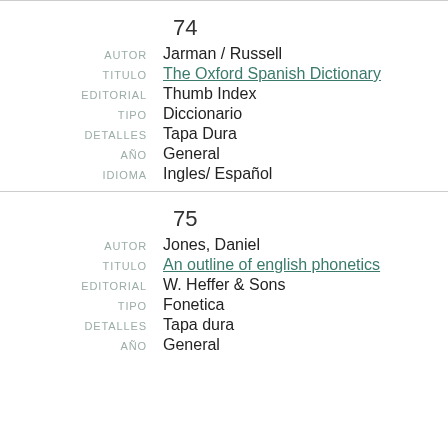74
AUTOR: Jarman / Russell
TITULO: The Oxford Spanish Dictionary
EDITORIAL: Thumb Index
TIPO: Diccionario
DETALLES: Tapa Dura
AÑO: General
IDIOMA: Ingles/ Español
75
AUTOR: Jones, Daniel
TITULO: An outline of english phonetics
EDITORIAL: W. Heffer & Sons
TIPO: Fonetica
DETALLES: Tapa dura
AÑO: General